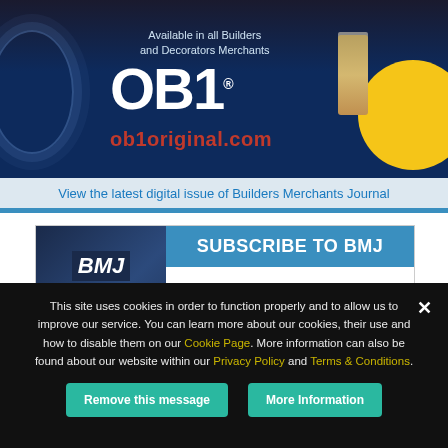[Figure (illustration): OB1 product advertisement on dark navy background with yellow circle accent, showing OB1 logo, product tube image, and ob1original.com URL. Text reads 'Available in all Builders and Decorators Merchants']
View the latest digital issue of Builders Merchants Journal
[Figure (illustration): Subscribe to BMJ section with magazine cover showing 'unwrapping' theme with red bow, and right panel showing 'SUBSCRIBE TO BMJ' header and 'Would you like to receive a printed copy?' text]
This site uses cookies in order to function properly and to allow us to improve our service. You can learn more about our cookies, their use and how to disable them on our Cookie Page. More information can also be found about our website within our Privacy Policy and Terms & Conditions.
Remove this message
More Information